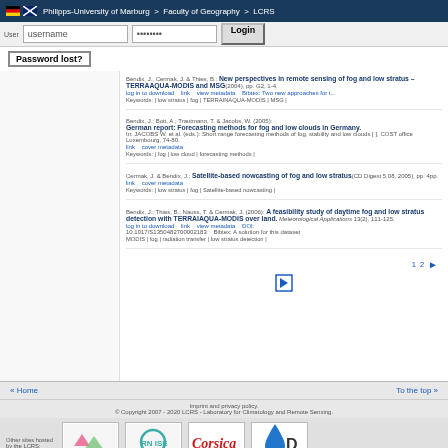Philipps-University of Marburg > Faculty of Geography > LCRS
username | ******** | Login | Password lost?
Bendix, J., Cermak, J. & Thies, B.: New perspectives in remote sensing of fog and low stratus – TERRAIAQUA-MODIS and MSG(2004), pp. G2, 1-4.
Bendix, J.; Bott, A.; Trautmann, T. & Jacobs, W. (2005): German report: Forecasting methods for fog and low clouds in Germany. In: JACOBS W. et al. (eds.): Short range forecasting methods of fog, stability and low clouds [ ], COST office Luxembourg, 74-80.
Cermak, J. & Bendix, J.: Satellite-based nowcasting of fog and low stratus(CD Digest 5.08, 2005), pp. 4pp.
Bendix, J.; Thies, B.; Nauss, T. & Cermak, J. (2006): A feasibility study of daytime fog and low stratus detection with TERRAIAQUA-MODIS over land. Meteorological Applications 13(2), 111-125.
1  2  ▶
« Home  |  To the top »
Imprint and privacy policy. © Copyright 2007 - 2020 LCRS - Laboratory for Climatology and Remote Sensing.
Other sites hosted by the LCRS:
[Figure (logo): RESPECT logo - green and pink logo with arrow shapes]
[Figure (logo): RN ISE logo - circular teal outline logo]
[Figure (logo): Corsica Archive logo - red italic text on white]
[Figure (logo): Blue water drop logo with D text]